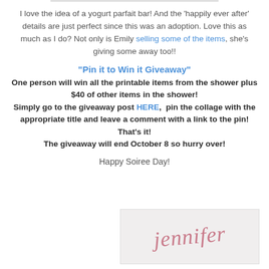I love the idea of a yogurt parfait bar! And the 'happily ever after' details are just perfect since this was an adoption. Love this as much as I do? Not only is Emily selling some of the items, she's giving some away too!!
"Pin it to Win it Giveaway" One person will win all the printable items from the shower plus $40 of other items in the shower! Simply go to the giveaway post HERE, pin the collage with the appropriate title and leave a comment with a link to the pin! That's it! The giveaway will end October 8 so hurry over!
Happy Soiree Day!
[Figure (illustration): Handwritten signature reading 'Jennifer' in cursive pink/rose script on a light grey background]